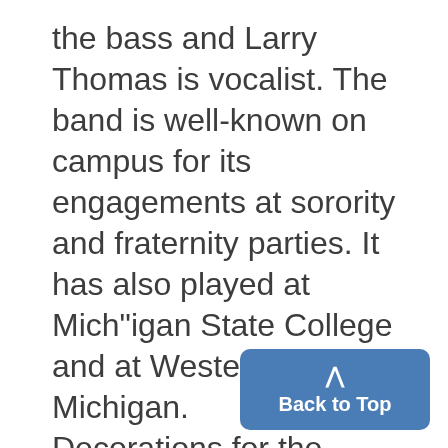the bass and Larry Thomas is vocalist. The band is well-known on campus for its engagements at sorority and fraternity parties. It has also played at Michigan State College and at Western Michigan.
Decorations for the dance will center around a huge boxcar with

f i g u r e s of hobos scattered throughout the ballroom. Authentic corn-cob pipes will be furnished as favors and "you can actually
[Figure (other): Back to Top button — a blue rounded rectangle with an upward caret arrow and the text 'Back to Top']